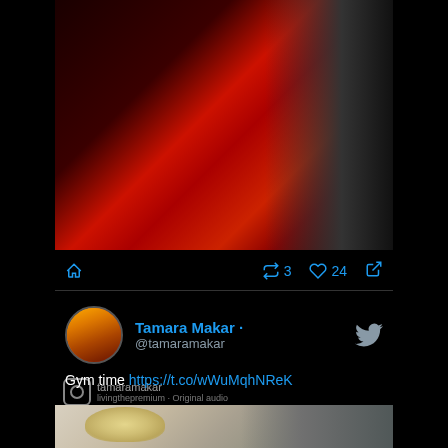[Figure (screenshot): Social media screenshot showing a video of a person in red workout outfit on a stair machine, with Instagram watermark showing 'tamaramakar' and 'livingthepremium · Original audio', video timestamp 0:00]
0:00
tamaramakar
livingthepremium · Original audio
3  24
Tamara Makar · @tamaramakar
Gym time https://t.co/wWuMqhNReK
[Figure (photo): Partial image of person with blonde hair, bottom preview of a linked image]